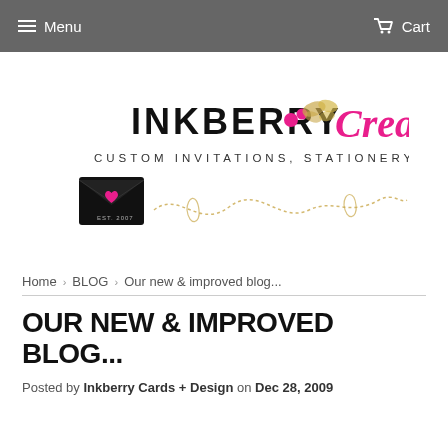Menu  Cart
[Figure (logo): Inkberry Creative logo — custom invitations, stationery + gifts, with decorative envelope and swirl illustration]
Home › BLOG › Our new & improved blog...
OUR NEW & IMPROVED BLOG...
Posted by Inkberry Cards + Design on Dec 28, 2009